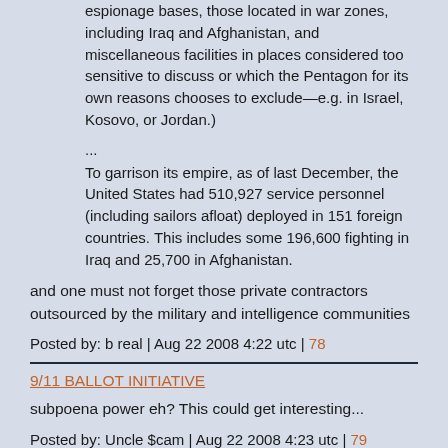espionage bases, those located in war zones, including Iraq and Afghanistan, and miscellaneous facilities in places considered too sensitive to discuss or which the Pentagon for its own reasons chooses to exclude—e.g. in Israel, Kosovo, or Jordan.)
...
To garrison its empire, as of last December, the United States had 510,927 service personnel (including sailors afloat) deployed in 151 foreign countries. This includes some 196,600 fighting in Iraq and 25,700 in Afghanistan.
and one must not forget those private contractors outsourced by the military and intelligence communities
Posted by: b real | Aug 22 2008 4:22 utc | 78
9/11 BALLOT INITIATIVE
subpoena power eh? This could get interesting...
Posted by: Uncle $cam | Aug 22 2008 4:23 utc | 79
Posted by: Uncle $cam | Aug 22 2008 8:18 utc | 80
Turkish journalists were caught in a war zone while on the job. The Turkish team was in between the town of Gori and